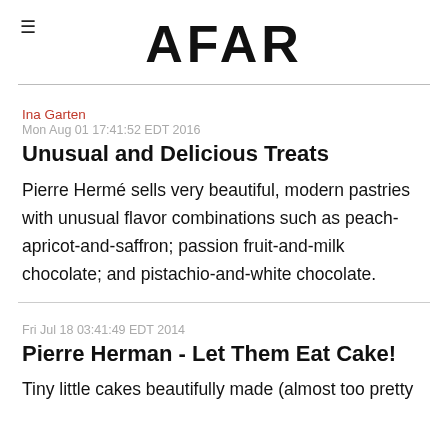AFAR
Ina Garten
Mon Aug 01 17:41:52 EDT 2016
Unusual and Delicious Treats
Pierre Hermé sells very beautiful, modern pastries with unusual flavor combinations such as peach-apricot-and-saffron; passion fruit-and-milk chocolate; and pistachio-and-white chocolate.
Fri Jul 18 03:41:49 EDT 2014
Pierre Herman - Let Them Eat Cake!
Tiny little cakes beautifully made (almost too pretty